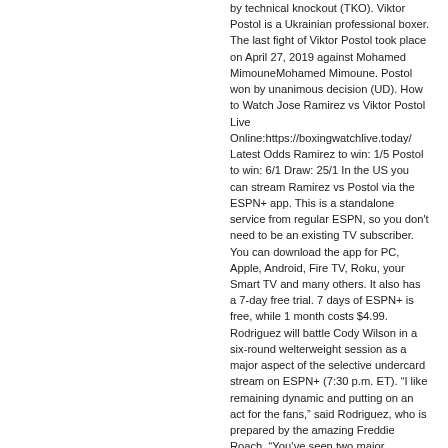by technical knockout (TKO). Viktor Postol is a Ukrainian professional boxer. The last fight of Viktor Postol took place on April 27, 2019 against Mohamed MimouneMohamed Mimoune. Postol won by unanimous decision (UD). How to Watch Jose Ramirez vs Viktor Postol Live Online:https://boxingwatchlive.today/ Latest Odds Ramirez to win: 1/5 Postol to win: 6/1 Draw: 25/1 In the US you can stream Ramirez vs Postol via the ESPN+ app. This is a standalone service from regular ESPN, so you don't need to be an existing TV subscriber. You can download the app for PC, Apple, Android, Fire TV, Roku, your Smart TV and many others. It also has a 7-day free trial. 7 days of ESPN+ is free, while 1 month costs $4.99. Rodriguez will battle Cody Wilson in a six-round welterweight session as a major aspect of the selective undercard stream on ESPN+ (7:30 p.m. ET). "I like remaining dynamic and putting on an act for the fans," said Rodriguez, who is prepared by the amazing Freddie Roach. "You've seen two major knockouts from me inside the 'Air pocket,' and I don't see my third battle being any extraordinary," Rodriguez (9-0-1, 8